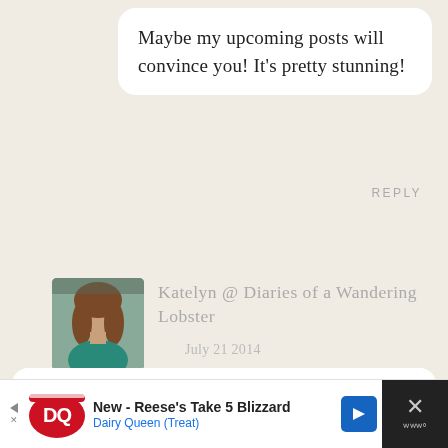Maybe my upcoming posts will convince you! It’s pretty stunning!
REPLY
[Figure (photo): Avatar photo of Katelyn, a woman with long brown hair wearing a teal top]
Katelyn @ Diaries of a Wandering Lobster
July 21 2014
So hard to choose, but if I had to pick a set it would be A. What kind of camera do you use for your underwater photos?
REPLY
[Figure (screenshot): Advertisement banner for Dairy Queen: New - Reese's Take 5 Blizzard, Dairy Queen (Treat)]